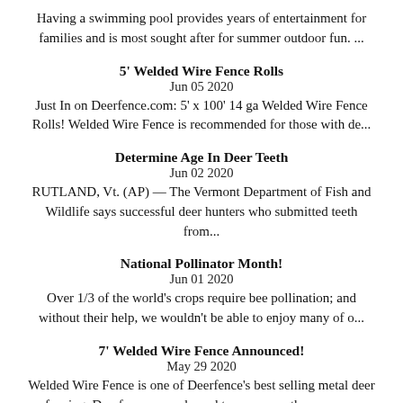Having a swimming pool provides years of entertainment for families and is most sought after for summer outdoor fun. ...
5' Welded Wire Fence Rolls
Jun 05 2020
Just In on Deerfence.com: 5' x 100' 14 ga Welded Wire Fence Rolls! Welded Wire Fence is recommended for those with de...
Determine Age In Deer Teeth
Jun 02 2020
RUTLAND, Vt. (AP) — The Vermont Department of Fish and Wildlife says successful deer hunters who submitted teeth from...
National Pollinator Month!
Jun 01 2020
Over 1/3 of the world's crops require bee pollination; and without their help, we wouldn't be able to enjoy many of o...
7' Welded Wire Fence Announced!
May 29 2020
Welded Wire Fence is one of Deerfence's best selling metal deer fencing. Deerfence.com pleased to announce the expans...
Attach Fence Mesh To Post